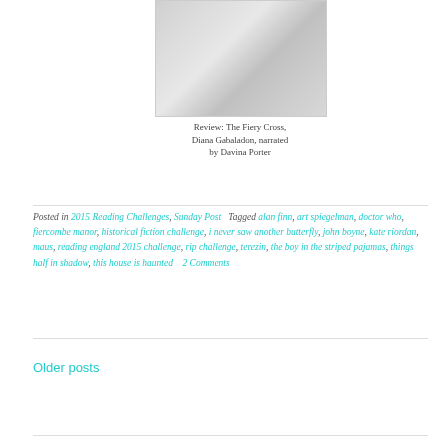[Figure (illustration): Book cover image placeholder with grey gradient background]
Review: The Fiery Cross, Diana Gabaladon, narrated by Davina Porter
Posted in 2015 Reading Challenges, Sunday Post   Tagged alan finn, art spiegelman, doctor who, fiercombe manor, historical fiction challenge, i never saw another butterfly, john boyne, kate riordan, maus, reading england 2015 challenge, rip challenge, terezin, the boy in the striped pajamas, things half in shadow, this house is haunted   2 Comments
Older posts